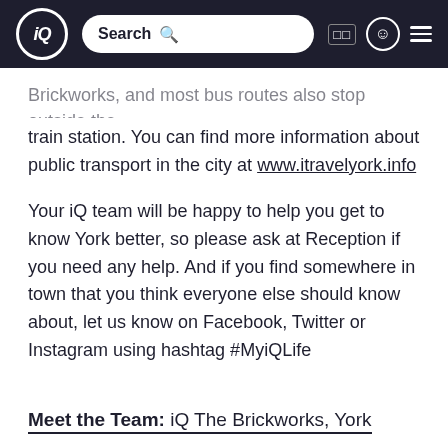iQ Search
Brickworks, and most bus routes also stop outside the train station. You can find more information about public transport in the city at www.itravelyork.info
Your iQ team will be happy to help you get to know York better, so please ask at Reception if you need any help. And if you find somewhere in town that you think everyone else should know about, let us know on Facebook, Twitter or Instagram using hashtag #MyiQLife
Meet the Team: iQ The Brickworks, York